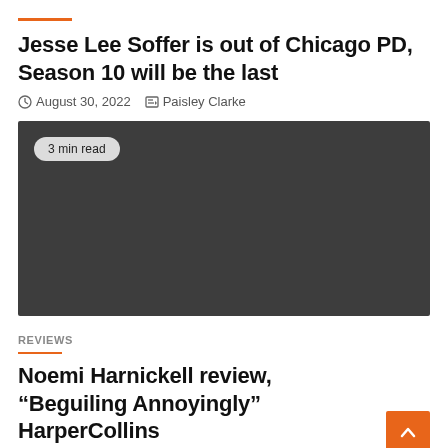Jesse Lee Soffer is out of Chicago PD, Season 10 will be the last
August 30, 2022   Paisley Clarke
[Figure (photo): Dark gray placeholder image area with a '3 min read' badge in the top-left corner]
REVIEWS
Noemi Harnickell review, “Beguiling Annoyingly” HarperCollins